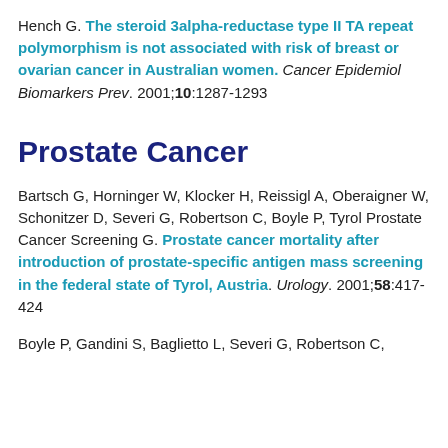Hench G. The steroid 3alpha-reductase type II TA repeat polymorphism is not associated with risk of breast or ovarian cancer in Australian women. Cancer Epidemiol Biomarkers Prev. 2001;10:1287-1293
Prostate Cancer
Bartsch G, Horninger W, Klocker H, Reissigl A, Oberaigner W, Schonitzer D, Severi G, Robertson C, Boyle P, Tyrol Prostate Cancer Screening G. Prostate cancer mortality after introduction of prostate-specific antigen mass screening in the federal state of Tyrol, Austria. Urology. 2001;58:417-424
Boyle P, Gandini S, Baglietto L, Severi G, Robertson C,...